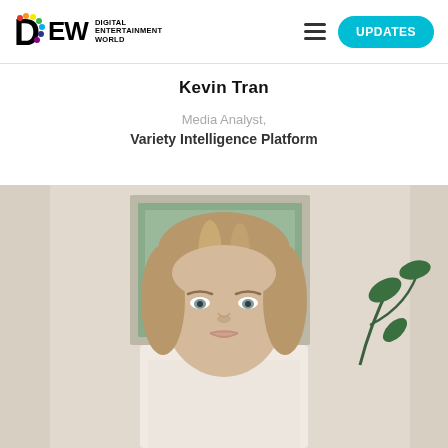DEW Digital Entertainment World — UPDATES
Kevin Tran
Media Analyst,
Variety Intelligence Platform
[Figure (photo): Headshot photo of a person with blonde/light brown straight hair, light eyes, wearing a white top, photographed indoors in front of a framed picture and plant.]